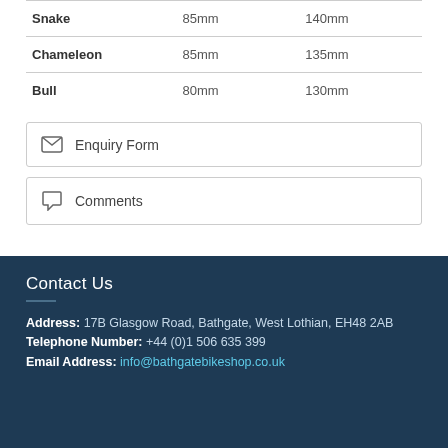| Snake | 85mm | 140mm |
| Chameleon | 85mm | 135mm |
| Bull | 80mm | 130mm |
Enquiry Form
Comments
Contact Us
Address: 17B Glasgow Road, Bathgate, West Lothian, EH48 2AB
Telephone Number: +44 (0)1 506 635 399
Email Address: info@bathgatebikeshop.co.uk